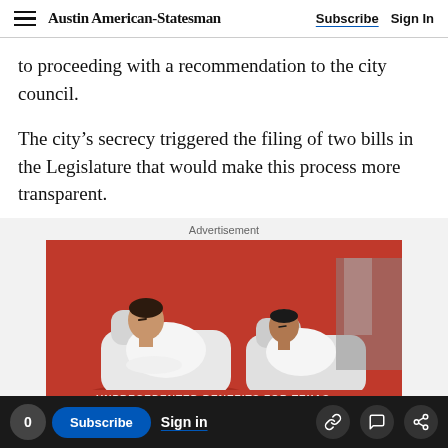Austin American-Statesman | Subscribe | Sign In
to proceeding with a recommendation to the city council.
The city's secrecy triggered the filing of two bills in the Legislature that would make this process more transparent.
Advertisement
[Figure (photo): Advertisement image showing two people in white robes reclining in spa-like chairs, with a red background and partial text 'UNPRECEDENTED BENEFITS FOR TEXAS' and a 'LEARN MORE' button]
0 | Subscribe | Sign in